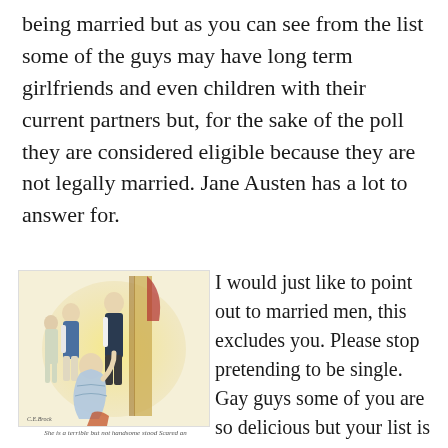being married but as you can see from the list some of the guys may have long term girlfriends and even children with their current partners but, for the sake of the poll they are considered eligible because they are not legally married. Jane Austen has a lot to answer for.
[Figure (illustration): A Regency-era illustration showing elegantly dressed figures in an interior scene, likely from a Jane Austen novel adaptation. A woman seated, with standing figures around her.]
She is a terrible but not handsome stood Scared an
I would just like to point out to married men, this excludes you. Please stop pretending to be single. Gay guys some of you are so delicious but your list is not here. No the eligible